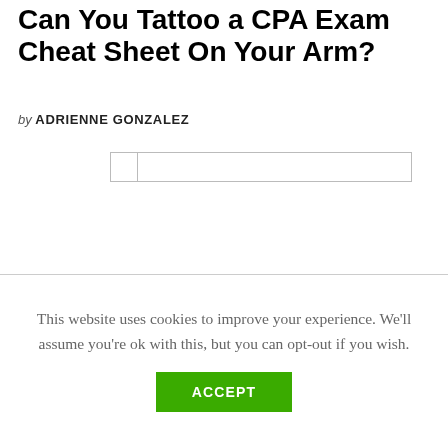Can You Tattoo a CPA Exam Cheat Sheet On Your Arm?
by ADRIENNE GONZALEZ
[Figure (other): A search/input field with a small checkbox area on the left side, displayed as a rectangular form element with a border.]
This website uses cookies to improve your experience. We'll assume you're ok with this, but you can opt-out if you wish.
ACCEPT